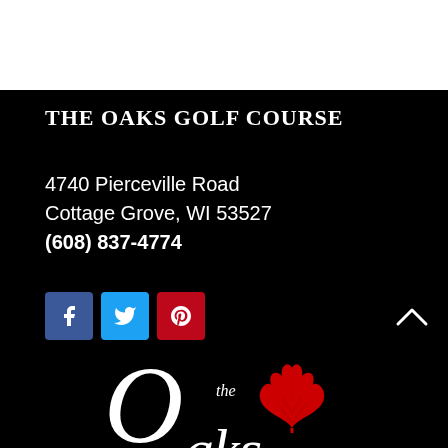THE OAKS GOLF COURSE
4740 Pierceville Road
Cottage Grove, WI 53527
(608) 837-4774
[Figure (logo): The Oaks Golf Course logo: large italic 'the Oaks' text in white with a red oak leaf graphic on a black background]